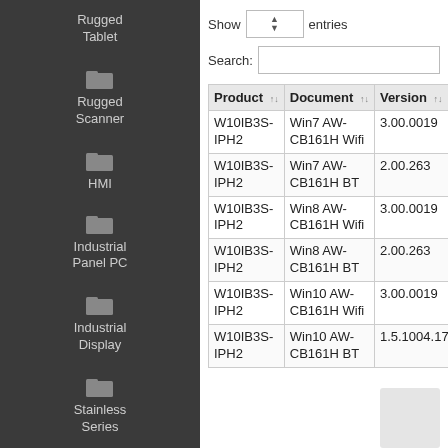Rugged Tablet
Rugged Scanner
HMI
Industrial Panel PC
Industrial Display
Stainless Series
Show entries
Search:
| Product | Document | Version |
| --- | --- | --- |
| W10IB3S-IPH2 | Win7 AW-CB161H Wifi | 3.00.0019 |
| W10IB3S-IPH2 | Win7 AW-CB161H BT | 2.00.263 |
| W10IB3S-IPH2 | Win8 AW-CB161H Wifi | 3.00.0019 |
| W10IB3S-IPH2 | Win8 AW-CB161H BT | 2.00.263 |
| W10IB3S-IPH2 | Win10 AW-CB161H Wifi | 3.00.0019 |
| W10IB3S-IPH2 | Win10 AW-CB161H BT | 1.5.1004.170928 |